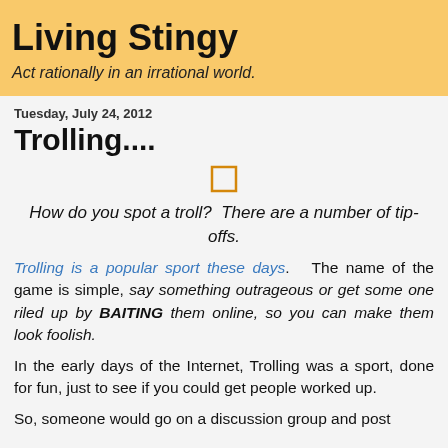Living Stingy
Act rationally in an irrational world.
Tuesday, July 24, 2012
Trolling....
[Figure (other): Small orange/yellow square outline icon]
How do you spot a troll?  There are a number of tip-offs.
Trolling is a popular sport these days.   The name of the game is simple, say something outrageous or get some one riled up by BAITING them online, so you can make them look foolish.
In the early days of the Internet, Trolling was a sport, done for fun, just to see if you could get people worked up.
So, someone would go on a discussion group and post